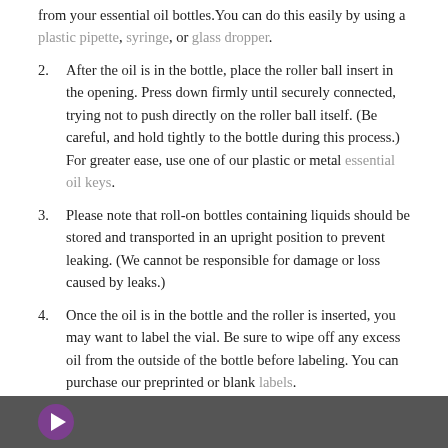from your essential oil bottles. You can do this easily by using a plastic pipette, syringe, or glass dropper.
2. After the oil is in the bottle, place the roller ball insert in the opening. Press down firmly until securely connected, trying not to push directly on the roller ball itself. (Be careful, and hold tightly to the bottle during this process.) For greater ease, use one of our plastic or metal essential oil keys.
3. Please note that roll-on bottles containing liquids should be stored and transported in an upright position to prevent leaking. (We cannot be responsible for damage or loss caused by leaks.)
4. Once the oil is in the bottle and the roller is inserted, you may want to label the vial. Be sure to wipe off any excess oil from the outside of the bottle before labeling. You can purchase our preprinted or blank labels.
Video:
[Figure (screenshot): Dark video player bar with circular purple/violet play button icon at the bottom of the page.]